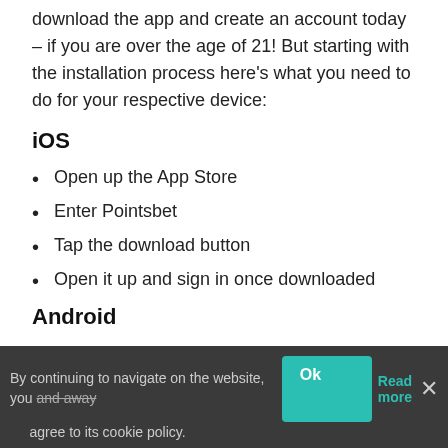download the app and create an account today – if you are over the age of 21! But starting with the installation process here's what you need to do for your respective device:
iOS
Open up the App Store
Enter Pointsbet
Tap the download button
Open it up and sign in once downloaded
Android
Visit Pointsbet on your mobile device
Search for the Android App link
Tap this and trust the file
By continuing to navigate on the website, you agree to its cookie policy.